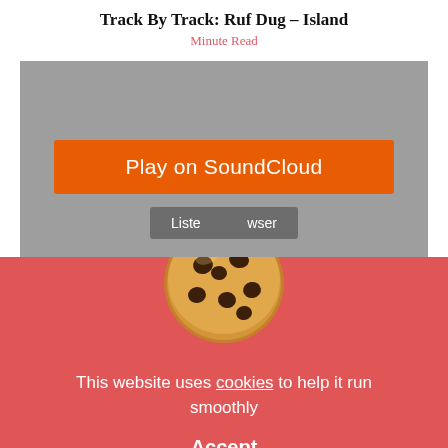Track By Track: Ruf Dug – Island
Minute Read
[Figure (screenshot): SoundCloud embedded player with grey background, orange 'Play on SoundCloud' button, and grey 'Listen in browser' button]
[Figure (illustration): Chocolate chip cookie emoji/image]
This website uses cookies to help it run smoothly
Accept